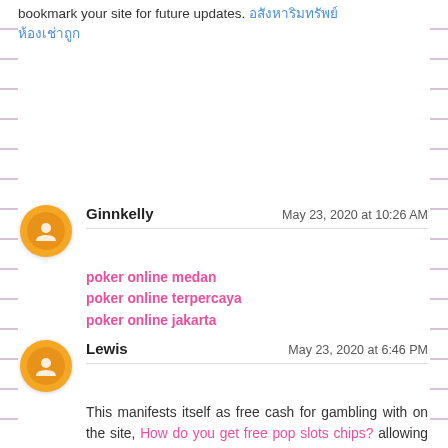bookmark your site for future updates. [Thai text link]
Ginnkelly
May 23, 2020 at 10:26 AM
poker online medan
poker online terpercaya
poker online jakarta
Lewis
May 23, 2020 at 6:46 PM
This manifests itself as free cash for gambling with on the site, How do you get free pop slots chips? allowing players a much greater chance of winning money before they need to make their first deposit.